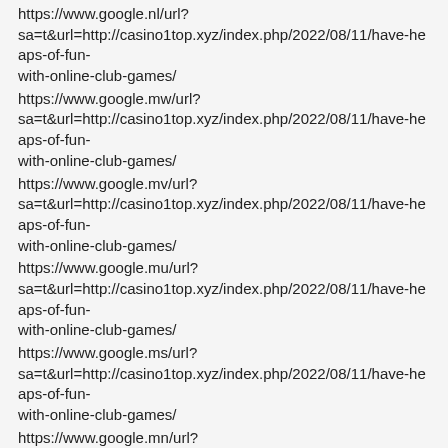https://www.google.nl/url?sa=t&url=http://casino1top.xyz/index.php/2022/08/11/have-heaps-of-fun-with-online-club-games/
https://www.google.mw/url?sa=t&url=http://casino1top.xyz/index.php/2022/08/11/have-heaps-of-fun-with-online-club-games/
https://www.google.mv/url?sa=t&url=http://casino1top.xyz/index.php/2022/08/11/have-heaps-of-fun-with-online-club-games/
https://www.google.mu/url?sa=t&url=http://casino1top.xyz/index.php/2022/08/11/have-heaps-of-fun-with-online-club-games/
https://www.google.ms/url?sa=t&url=http://casino1top.xyz/index.php/2022/08/11/have-heaps-of-fun-with-online-club-games/
https://www.google.mn/url?sa=t&url=http://casino1top.xyz/index.php/2022/08/11/have-heaps-of-fun-with-online-club-games/
https://www.google.mk/url?sa=t&url=http://casino1top.xyz/index.php/2022/08/11/have-heaps-of-fun-with-online-club-games/
https://www.google.mg/url?sa=t&url=http://casino1top.xyz/index.php/2022/08/11/have-heaps-of-fun-with-online-club-games/